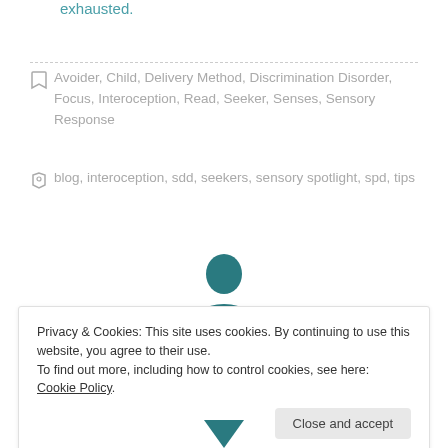exhausted.
Avoider, Child, Delivery Method, Discrimination Disorder, Focus, Interoception, Read, Seeker, Senses, Sensory Response
blog, interoception, sdd, seekers, sensory spotlight, spd, tips
[Figure (illustration): Person/user avatar icon in teal color]
Privacy & Cookies: This site uses cookies. By continuing to use this website, you agree to their use.
To find out more, including how to control cookies, see here: Cookie Policy
Close and accept